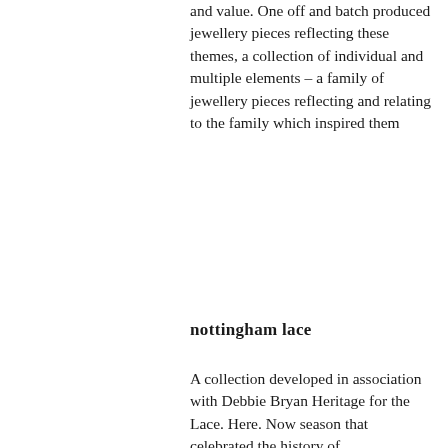and value. One off and batch produced jewellery pieces reflecting these themes, a collection of individual and multiple elements – a family of jewellery pieces reflecting and relating to the family which inspired them
nottingham lace
A collection developed in association with Debbie Bryan Heritage for the Lace. Here. Now season that celebrated the history of